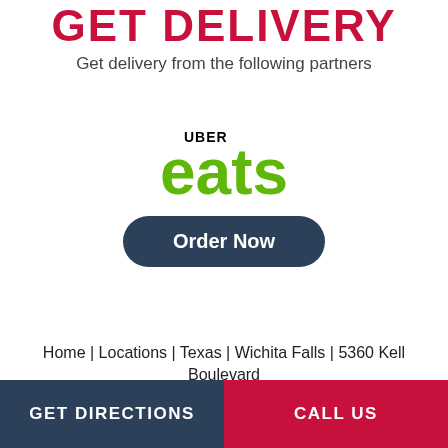GET DELIVERY
Get delivery from the following partners
[Figure (logo): Uber Eats logo with 'UBER' in black bold text above 'eats' in large green bold text, followed by a dark navy 'Order Now' button with rounded corners]
Home | Locations | Texas | Wichita Falls | 5360 Kell Boulevard
GET DIRECTIONS   CALL US